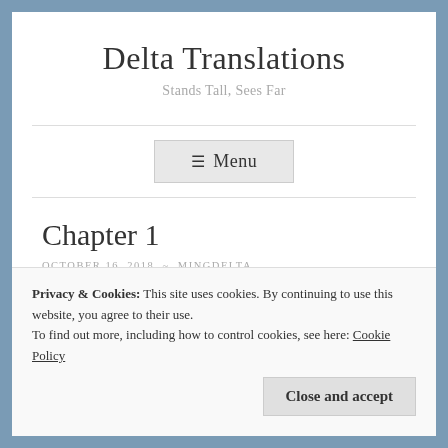Delta Translations
Stands Tall, Sees Far
☰ Menu
Chapter 1
OCTOBER 16, 2018 ~ MINGDELTA
Privacy & Cookies: This site uses cookies. By continuing to use this website, you agree to their use.
To find out more, including how to control cookies, see here: Cookie Policy
Close and accept